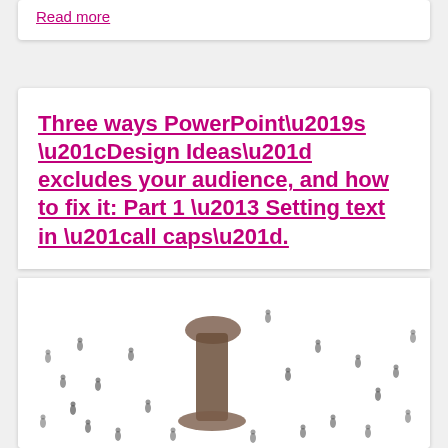Read more
Three ways PowerPoint’s “Design Ideas” excludes your audience, and how to fix it: Part 1 – Setting text in “all caps”.
[Figure (photo): Aerial view of many people arranged to form the number 1, with other individuals scattered around them on a white background.]